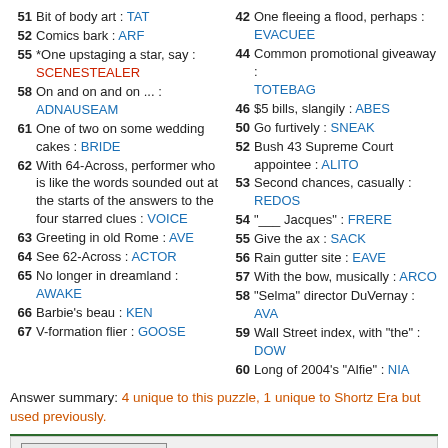51 Bit of body art : TAT
52 Comics bark : ARF
55 *One upstaging a star, say : SCENESTEALER
58 On and on and on ... : ADNAUSEAM
61 One of two on some wedding cakes : BRIDE
62 With 64-Across, performer who is like the words sounded out at the starts of the answers to the four starred clues : VOICE
63 Greeting in old Rome : AVE
64 See 62-Across : ACTOR
65 No longer in dreamland : AWAKE
66 Barbie's beau : KEN
67 V-formation flier : GOOSE
42 One fleeing a flood, perhaps : EVACUEE
44 Common promotional giveaway : TOTEBAG
46 $5 bills, slangily : ABES
50 Go furtively : SNEAK
52 Bush 43 Supreme Court appointee : ALITO
53 Second chances, casually : REDOS
54 "___ Jacques" : FRERE
55 Give the ax : SACK
56 Rain gutter site : EAVE
57 With the bow, musically : ARCO
58 "Selma" director DuVernay : AVA
59 Wall Street index, with "the" : DOW
60 Long of 2004's "Alfie" : NIA
Answer summary: 4 unique to this puzzle, 1 unique to Shortz Era but used previously.
Analyze this puzzle
Found bugs or have suggestions? Please let us know.
Like this puzzle? Please share this page on social media to help